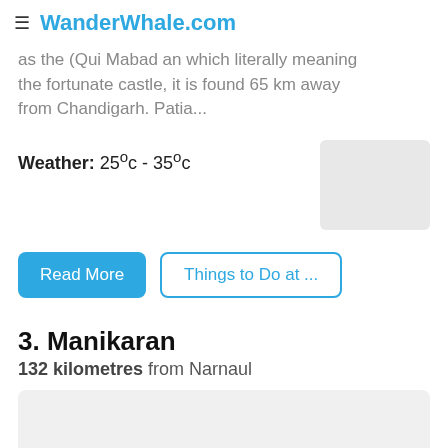≡ WanderWhale.com
as the (Qui Mabad an which literally meaning the fortunate castle, it is found 65 km away from Chandigarh. Patia...
Weather: 25°c - 35°c
Read More | Things to Do at ...
3. Manikaran
132 kilometres from Narnaul
[Figure (photo): Image placeholder for Manikaran]